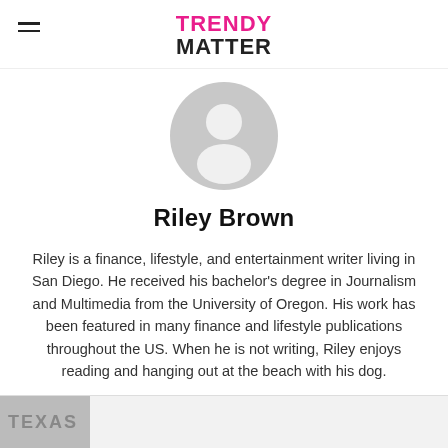TRENDY MATTER
[Figure (illustration): Default user avatar placeholder: grey circle with white silhouette of a person (head and shoulders)]
Riley Brown
Riley is a finance, lifestyle, and entertainment writer living in San Diego. He received his bachelor's degree in Journalism and Multimedia from the University of Oregon. His work has been featured in many finance and lifestyle publications throughout the US. When he is not writing, Riley enjoys reading and hanging out at the beach with his dog.
[Figure (photo): Partial thumbnail image at bottom of page showing text 'TEXAS' partially visible]